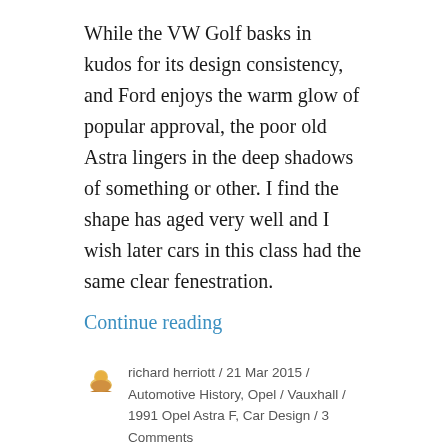While the VW Golf basks in kudos for its design consistency, and Ford enjoys the warm glow of popular approval, the poor old Astra lingers in the deep shadows of something or other. I find the shape has aged very well and I wish later cars in this class had the same clear fenestration.
Continue reading
richard herriott / 21 Mar 2015 / Automotive History, Opel / Vauxhall / 1991 Opel Astra F, Car Design / 3 Comments
History in Cars: Ten Feet of Trouble
A tale of a Mini well past its best